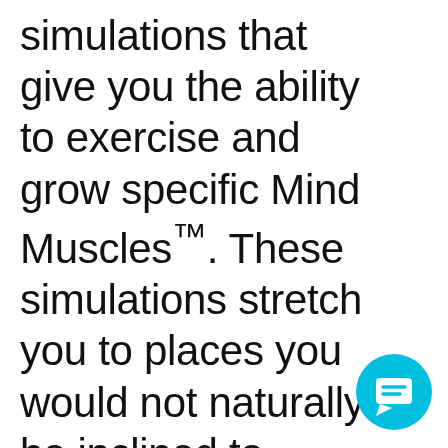simulations that give you the ability to exercise and grow specific Mind Muscles™. These simulations stretch you to places you would not naturally be inclined to stretch. Each Mind Muscle™ simulation is designed to get you to where you want to go.

Much like commercial airline pilots who use simulators to learn to
[Figure (illustration): Cyan/turquoise circular chat button with a speech bubble icon in the bottom-right corner]